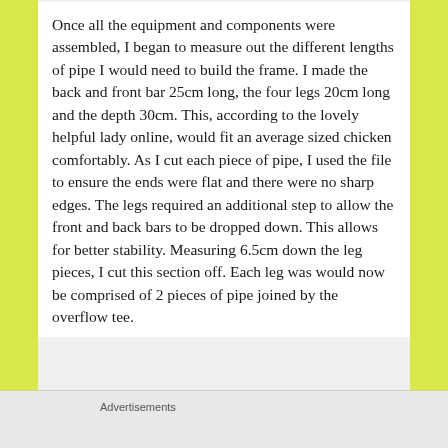Once all the equipment and components were assembled, I began to measure out the different lengths of pipe I would need to build the frame. I made the back and front bar 25cm long, the four legs 20cm long and the depth 30cm. This, according to the lovely helpful lady online, would fit an average sized chicken comfortably. As I cut each piece of pipe, I used the file to ensure the ends were flat and there were no sharp edges. The legs required an additional step to allow the front and back bars to be dropped down. This allows for better stability. Measuring 6.5cm down the leg pieces, I cut this section off. Each leg was would now be comprised of 2 pieces of pipe joined by the overflow tee.
Advertisements